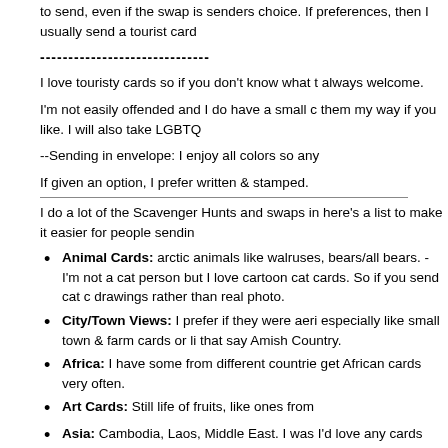to send, even if the swap is senders choice. If preferences, then I usually send a tourist card
------------------------------
I love touristy cards so if you don't know what to send, they are always welcome.
I'm not easily offended and I do have a small collection, send them my way if you like. I will also take LGBTQ
--Sending in envelope: I enjoy all colors so any
If given an option, I prefer written & stamped.
I do a lot of the Scavenger Hunts and swaps in here's a list to make it easier for people sending
Animal Cards: arctic animals like walruses, bears/all bears. - I'm not a cat person but I love cartoon cat cards. So if you send cat cards drawings rather than real photo.
City/Town Views: I prefer if they were aerial, especially like small town & farm cards or like that say Amish Country.
Africa: I have some from different countries, get African cards very often.
Art Cards: Still life of fruits, like ones from
Asia: Cambodia, Laos, Middle East. I was I'd love any cards from there too.